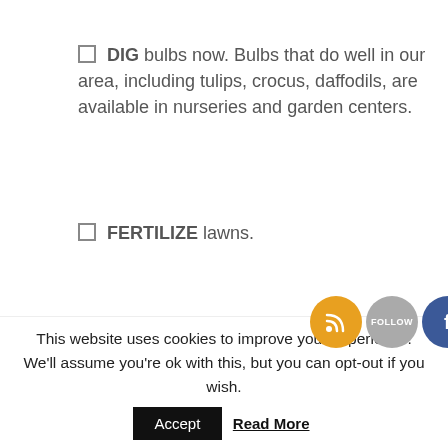☐ DIG bulbs now. Bulbs that do well in our area, including tulips, crocus, daffodils, are available in nurseries and garden centers.
☐ FERTILIZE lawns.
☐ PHOTOGRAPH the changing colors of the autumn trees and shrubs.
[Figure (illustration): Social media icon overlay: RSS feed (orange), Follow (grey), Facebook (blue), Twitter (light blue) circular icons]
[Figure (photo): Autumn trees with orange, yellow and green foliage against a light sky]
This website uses cookies to improve your experience. We'll assume you're ok with this, but you can opt-out if you wish.
Accept   Read More